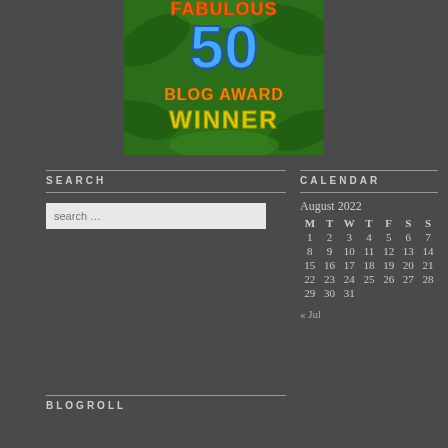[Figure (illustration): Fabulous 50 Blog Award Winner badge with green leafy background, large blue '50', orange 'BLOG AWARD' text, and yellow 'WINNER' text]
SEARCH
search …
CALENDAR
| M | T | W | T | F | S | S |
| --- | --- | --- | --- | --- | --- | --- |
| 1 | 2 | 3 | 4 | 5 | 6 | 7 |
| 8 | 9 | 10 | 11 | 12 | 13 | 14 |
| 15 | 16 | 17 | 18 | 19 | 20 | 21 |
| 22 | 23 | 24 | 25 | 26 | 27 | 28 |
| 29 | 30 | 31 |  |  |  |  |
« Jul
BLOGROLL